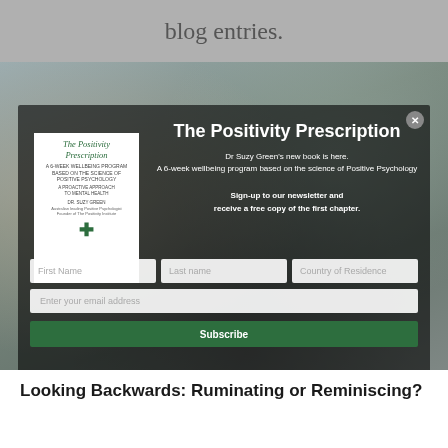blog entries.
[Figure (photo): Popup modal over blurred crowd/event background photo promoting 'The Positivity Prescription' book by Dr Suzy Green, with newsletter sign-up form]
The Positivity Prescription
Dr Suzy Green's new book is here. A 6-week wellbeing program based on the science of Positive Psychology
Sign-up to our newsletter and receive a free copy of the first chapter.
First Name
Last name
Country of Residence
Enter your email address
Subscribe
Looking Backwards: Ruminating or Reminiscing?